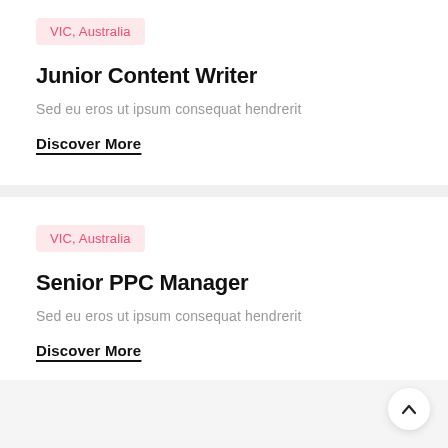VIC, Australia
Junior Content Writer
Sed eu eros ut ipsum consequat hendrerit
Discover More
VIC, Australia
Senior PPC Manager
Sed eu eros ut ipsum consequat hendrerit
Discover More